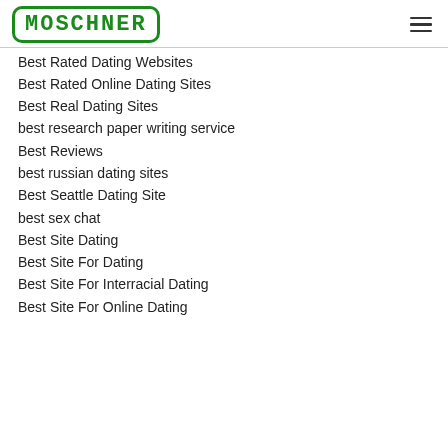MOSCHNER
Best Rated Dating Websites
Best Rated Online Dating Sites
Best Real Dating Sites
best research paper writing service
Best Reviews
best russian dating sites
Best Seattle Dating Site
best sex chat
Best Site Dating
Best Site For Dating
Best Site For Interracial Dating
Best Site For Online Dating